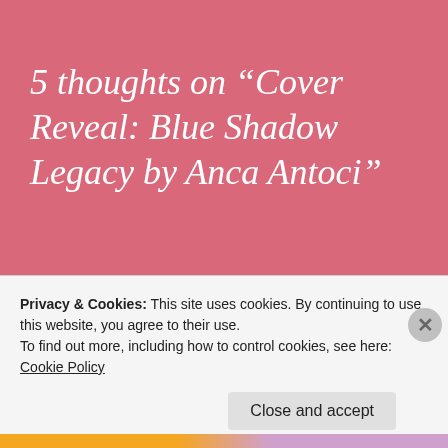5 thoughts on “Cover Reveal: Blue Shadow Legacy by Anca Antoci”
mehsi
January 19, 2022 at 9:34 am
Privacy & Cookies: This site uses cookies. By continuing to use this website, you agree to their use.
To find out more, including how to control cookies, see here: Cookie Policy